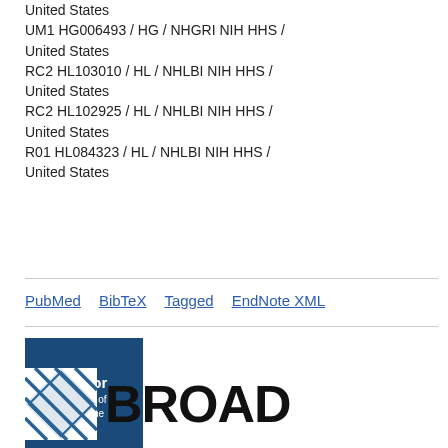United States
UM1 HG006493 / HG / NHGRI NIH HHS / United States
RC2 HL103010 / HL / NHLBI NIH HHS / United States
RC2 HL102925 / HL / NHLBI NIH HHS / United States
R01 HL084323 / HL / NHLBI NIH HHS / United States
PubMed   BibTeX   Tagged   EndNote XML
[Figure (logo): Baylor College of Medicine logo — dark blue square with white text reading Baylor College of Medicine]
[Figure (logo): Broad Institute logo — blue geometric cross/diamond icon with the word BROAD in large bold black text]